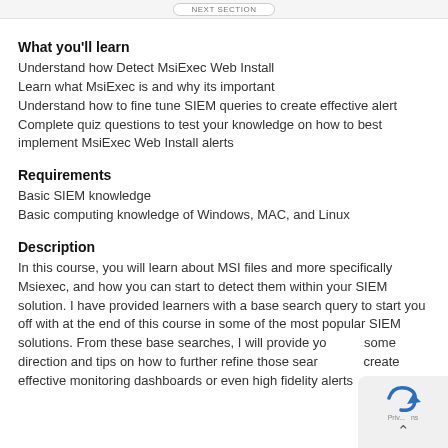What you'll learn
Understand how Detect MsiExec Web Install
Learn what MsiExec is and why its important
Understand how to fine tune SIEM queries to create effective alert
Complete quiz questions to test your knowledge on how to best implement MsiExec Web Install alerts
Requirements
Basic SIEM knowledge
Basic computing knowledge of Windows, MAC, and Linux
Description
In this course, you will learn about MSI files and more specifically Msiexec, and how you can start to detect them within your SIEM solution. I have provided learners with a base search query to start you off with at the end of this course in some of the most popular SIEM solutions. From these base searches, I will provide you with some direction and tips on how to further refine those searches to create effective monitoring dashboards or even high fidelity alerts